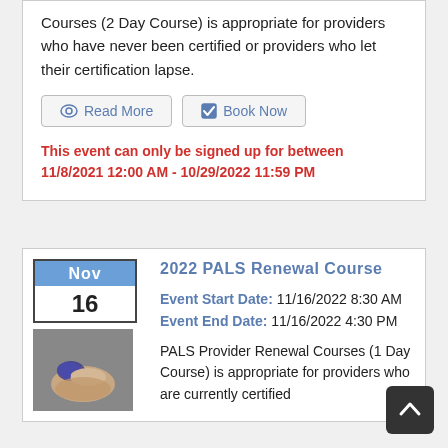Courses (2 Day Course) is appropriate for providers who have never been certified or providers who let their certification lapse.
[Figure (screenshot): Two buttons: 'Read More' with eye icon and 'Book Now' with checkbox icon]
This event can only be signed up for between 11/8/2021 12:00 AM - 10/29/2022 11:59 PM
2022 PALS Renewal Course
Event Start Date: 11/16/2022 8:30 AM Event End Date: 11/16/2022 4:30 PM
PALS Provider Renewal Courses (1 Day Course) is appropriate for providers who are currently certified